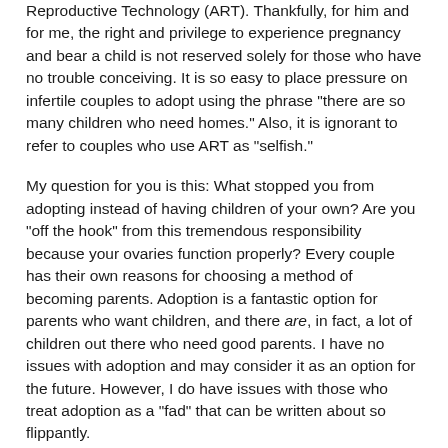Reproductive Technology (ART). Thankfully, for him and for me, the right and privilege to experience pregnancy and bear a child is not reserved solely for those who have no trouble conceiving. It is so easy to place pressure on infertile couples to adopt using the phrase "there are so many children who need homes." Also, it is ignorant to refer to couples who use ART as "selfish."
My question for you is this: What stopped you from adopting instead of having children of your own? Are you "off the hook" from this tremendous responsibility because your ovaries function properly? Every couple has their own reasons for choosing a method of becoming parents. Adoption is a fantastic option for parents who want children, and there are, in fact, a lot of children out there who need good parents. I have no issues with adoption and may consider it as an option for the future. However, I do have issues with those who treat adoption as a "fad" that can be written about so flippantly.
If we were to live out your argument fully, there would be no planned pregnancies. Couples would never try to get